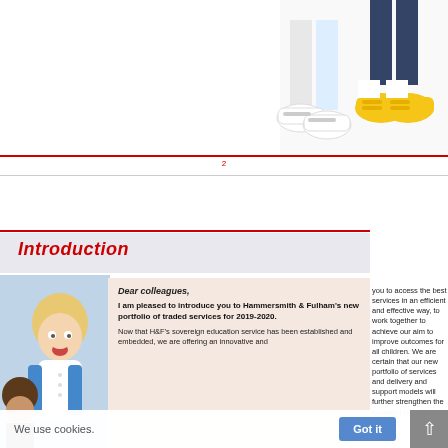[Figure (photo): Children's shoes/feet — two children standing, one with white shoes and one with yellow sneakers, white background]
2
[Figure (photo): Children photo on left side — young blonde boy with mouth open, another child partially visible]
Introduction
Dear colleagues,
I am pleased to introduce you to Hammersmith & Fulham's new portfolio of traded services for 2019-2020.
Now that H&F's sovereign education service has been established and embedded, we are offering an innovative and
you to access the best services in an efficient and effective way, to work together to achieve our aim to improve outcomes for all children. We are certain that our new portfolio of services and delivery and support models will further strengthen the excellent relationships, products
We use cookies.
Got it